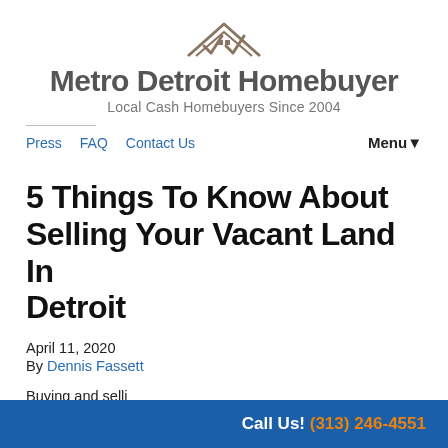[Figure (logo): Metro Detroit Homebuyer logo with house roof icon showing two checkmarks]
Metro Detroit Homebuyer
Local Cash Homebuyers Since 2004
Press   FAQ   Contact Us   Menu ▾
5 Things To Know About Selling Your Vacant Land In Detroit
April 11, 2020
By Dennis Fassett
Buying and selli…
Call Us! (313) 246-4551